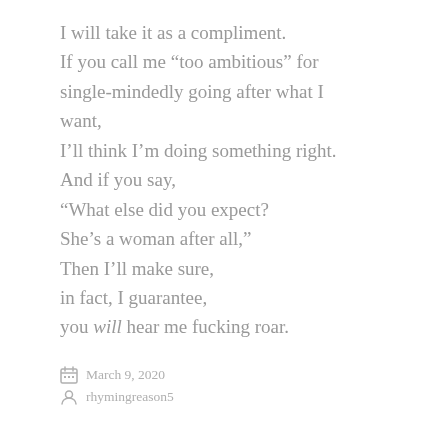I will take it as a compliment.
If you call me “too ambitious” for single-mindedly going after what I want,
I’ll think I’m doing something right.
And if you say,
“What else did you expect?
She’s a woman after all,”
Then I’ll make sure,
in fact, I guarantee,
you will hear me fucking roar.
March 9, 2020
rhymingreason5